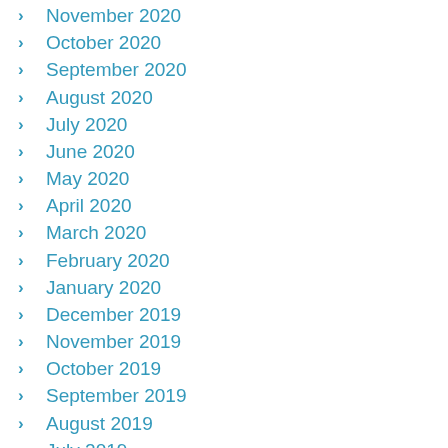November 2020
October 2020
September 2020
August 2020
July 2020
June 2020
May 2020
April 2020
March 2020
February 2020
January 2020
December 2019
November 2019
October 2019
September 2019
August 2019
July 2019
June 2019
May 2019
April 2019
March 2019
February 2019
January 2019